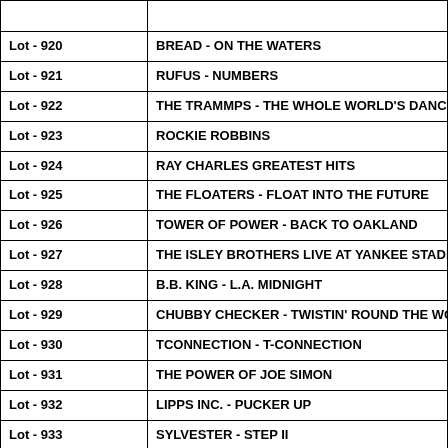| Lot | Description |
| --- | --- |
| Lot - 920 | BREAD - ON THE WATERS |
| Lot - 921 | RUFUS - NUMBERS |
| Lot - 922 | THE TRAMMPS - THE WHOLE WORLD'S DANC... |
| Lot - 923 | ROCKIE ROBBINS |
| Lot - 924 | RAY CHARLES GREATEST HITS |
| Lot - 925 | THE FLOATERS - FLOAT INTO THE FUTURE |
| Lot - 926 | TOWER OF POWER - BACK TO OAKLAND |
| Lot - 927 | THE ISLEY BROTHERS LIVE AT YANKEE STADI... |
| Lot - 928 | B.B. KING - L.A. MIDNIGHT |
| Lot - 929 | CHUBBY CHECKER - TWISTIN' ROUND THE WO... |
| Lot - 930 | TCONNECTION - T-CONNECTION |
| Lot - 931 | THE POWER OF JOE SIMON |
| Lot - 932 | LIPPS INC. - PUCKER UP |
| Lot - 933 | SYLVESTER - STEP II |